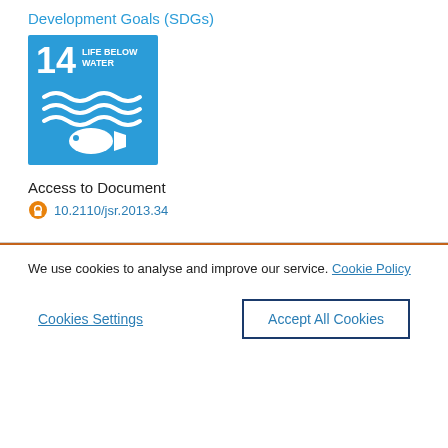Development Goals (SDGs)
[Figure (illustration): UN SDG 14 Life Below Water badge — blue square with '14' in large white bold text, 'LIFE BELOW WATER' label, white wave lines and a white fish icon]
Access to Document
10.2110/jsr.2013.34
We use cookies to analyse and improve our service. Cookie Policy
Cookies Settings
Accept All Cookies